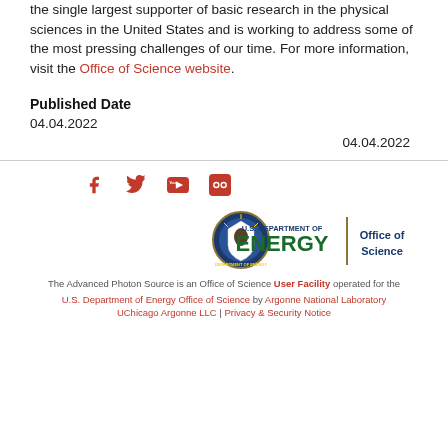the single largest supporter of basic research in the physical sciences in the United States and is working to address some of the most pressing challenges of our time. For more information, visit the Office of Science website.
Published Date
04.04.2022
04.04.2022
[Figure (logo): U.S. Department of Energy Office of Science logo]
The Advanced Photon Source is an Office of Science User Facility operated for the U.S. Department of Energy Office of Science by Argonne National Laboratory
UChicago Argonne LLC | Privacy & Security Notice